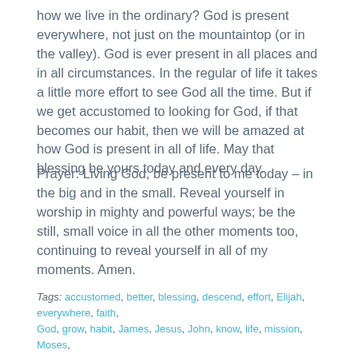how we live in the ordinary? God is present everywhere, not just on the mountaintop (or in the valley). God is ever present in all places and in all circumstances. In the regular of life it takes a little more effort to see God all the time. But if we get accustomed to looking for God, if that becomes our habit, then we will be amazed at how God is present in all of life. May that blessing be yours today and every day.
Prayer: Living God, be present to me today – in the big and in the small. Reveal yourself in worship in mighty and powerful ways; be the still, small voice in all the other moments too, continuing to reveal yourself in all of my moments. Amen.
Tags: accustomed, better, blessing, descend, effort, Elijah, everywhere, faith, God, grow, habit, James, Jesus, John, know, life, mission, Moses, mountaintop, ordinary, Peter, presence, preserve, prolong, regular, sacred, shelter, worship | Permalink.